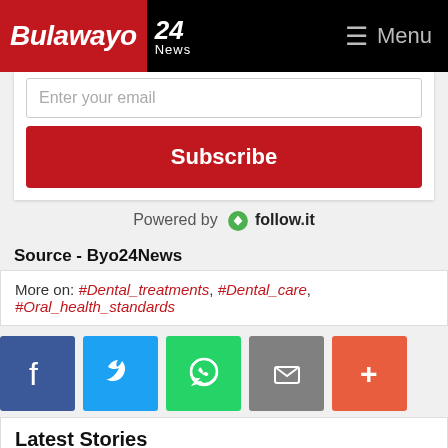Bulawayo 24 News | Menu
Enter your email
Subscribe
Powered by follow.it
Source - Byo24News
More on: #Dental_treatments, #Dental_care, #Oral_health_standards
[Figure (infographic): Social sharing icons: Facebook, Twitter, WhatsApp, Email, More]
Latest Stories
Bulawayo24.com uses cookies to ensure you get the best experience on our website
CCC urges Zimbabweans in SA to go home and register to vote
Got it!